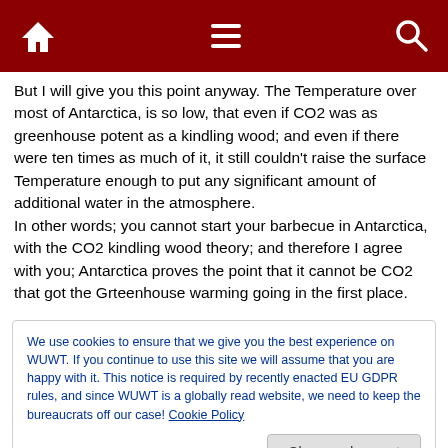Navigation bar with home, menu, and search icons
But I will give you this point anyway. The Temperature over most of Antarctica, is so low, that even if CO2 was as greenhouse potent as a kindling wood; and even if there were ten times as much of it, it still couldn't raise the surface Temperature enough to put any significant amount of additional water in the atmosphere.
In other words; you cannot start your barbecue in Antarctica, with the CO2 kindling wood theory; and therefore I agree with you; Antarctica proves the point that it cannot be CO2 that got the Grteenhouse warming going in the first place.
We use cookies to ensure that we give you the best experience on WUWT. If you continue to use this site we will assume that you are happy with it. This notice is required by recently enacted EU GDPR rules, and since WUWT is a globally read website, we need to keep the bureaucrats off our case! Cookie Policy
Close and accept
sees the whole 1362 W/m^2 of TSI acting locally over part of